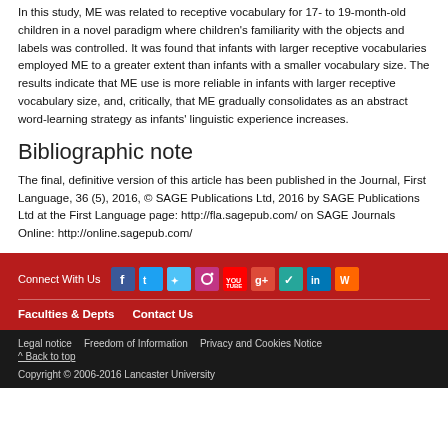In this study, ME was related to receptive vocabulary for 17- to 19-month-old children in a novel paradigm where children's familiarity with the objects and labels was controlled. It was found that infants with larger receptive vocabularies employed ME to a greater extent than infants with a smaller vocabulary size. The results indicate that ME use is more reliable in infants with larger receptive vocabulary size, and, critically, that ME gradually consolidates as an abstract word-learning strategy as infants' linguistic experience increases.
Bibliographic note
The final, definitive version of this article has been published in the Journal, First Language, 36 (5), 2016, © SAGE Publications Ltd, 2016 by SAGE Publications Ltd at the First Language page: http://fla.sagepub.com/ on SAGE Journals Online: http://online.sagepub.com/
Connect With Us | Faculties & Depts | Contact Us | Legal notice | Freedom of Information | Privacy and Cookies Notice | ^ Back to top | Copyright © 2006-2016 Lancaster University